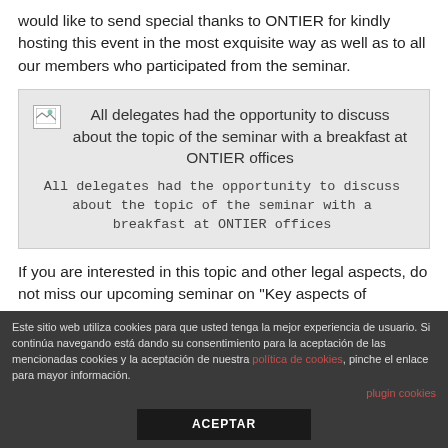would like to send special thanks to ONTIER for kindly hosting this event in the most exquisite way as well as to all our members who participated from the seminar.
[Figure (illustration): Gray box with broken image placeholder and caption: 'All delegates had the opportunity to discuss about the topic of the seminar with a breakfast at ONTIER offices']
All delegates had the opportunity to discuss about the topic of the seminar with a breakfast at ONTIER offices
If you are interested in this topic and other legal aspects, do not miss our upcoming seminar on "Key aspects of Insolvency Law and procedures
Este sitio web utiliza cookies para que usted tenga la mejor experiencia de usuario. Si continúa navegando está dando su consentimiento para la aceptación de las mencionadas cookies y la aceptación de nuestra política de cookies, pinche el enlace para mayor información.